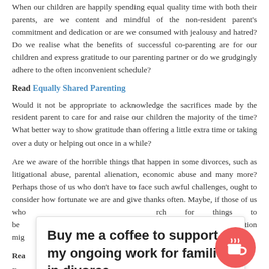When our children are happily spending equal quality time with both their parents, are we content and mindful of the non-resident parent's commitment and dedication or are we consumed with jealousy and hatred? Do we realise what the benefits of successful co-parenting are for our children and express gratitude to our parenting partner or do we grudgingly adhere to the often inconvenient schedule?
Read Equally Shared Parenting
Would it not be appropriate to acknowledge the sacrifices made by the resident parent to care for and raise our children the majority of the time? What better way to show gratitude than offering a little extra time or taking over a duty or helping out once in a while?
Are we aware of the horrible things that happen in some divorces, such as litigational abuse, parental alienation, economic abuse and many more? Perhaps those of us who don't have to face such awful challenges, ought to consider how fortunate we are and give thanks often. Maybe, if those of us who… rch for things to be… rs, our situation mig…
Rea…
Eve… d and… g parties as they adopt a thankful outlook on life and make a concerted effort to communicate their appreciation to their ex-spouse. The families accustom…
[Figure (infographic): Buy me a coffee popup overlay with text 'Buy me a coffee to support my ongoing work for families in divorce.' and a red circular coffee cup button icon on the right.]